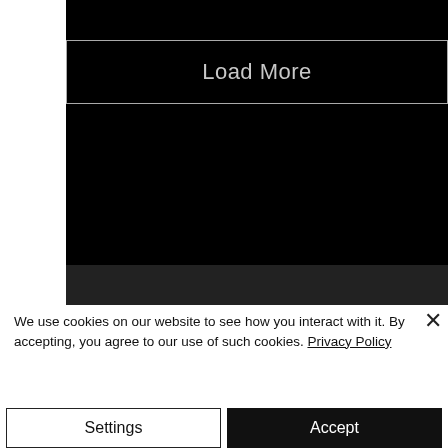[Figure (screenshot): Black background area with a 'Load More' button outlined in light gray with light gray text, centered on a black background.]
We use cookies on our website to see how you interact with it. By accepting, you agree to our use of such cookies. Privacy Policy
Settings
Accept